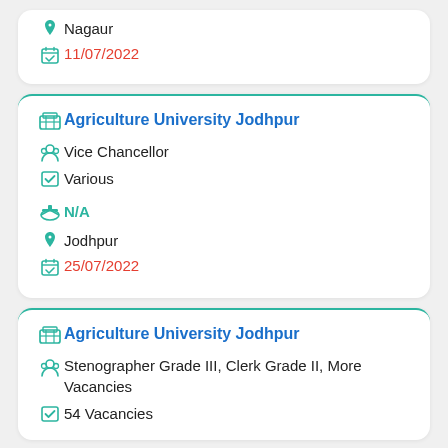Nagaur
11/07/2022
Agriculture University Jodhpur
Vice Chancellor
Various
N/A
Jodhpur
25/07/2022
Agriculture University Jodhpur
Stenographer Grade III, Clerk Grade II, More Vacancies
54 Vacancies